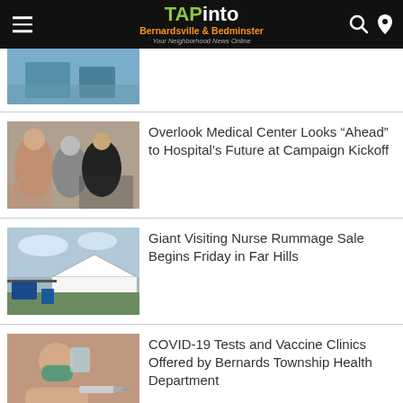TAPinto Bernardsville & Bedminster — Your Neighborhood News Online
[Figure (photo): Partial photo visible at top of news feed]
Overlook Medical Center Looks “Ahead” to Hospital’s Future at Campaign Kickoff
[Figure (photo): Indoor event photo with people talking]
Giant Visiting Nurse Rummage Sale Begins Friday in Far Hills
[Figure (photo): Outdoor rummage sale tent with signage]
COVID-19 Tests and Vaccine Clinics Offered by Bernards Township Health Department
[Figure (photo): Person receiving vaccine shot, wearing mask]